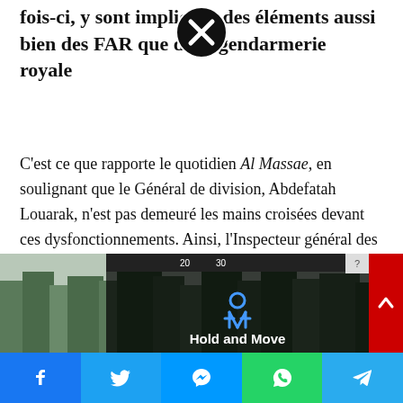fois-ci, y sont impliqués des éléments aussi bien des FAR que de la gendarmerie royale
[Figure (other): Close button overlay (circle with X)]
C'est ce que rapporte le quotidien Al Massae, en soulignant que le Général de division, Abdefatah Louarak, n'est pas demeuré les mains croisées devant ces dysfonctionnements. Ainsi, l'Inspecteur général des Forces armées royales a diligénté une enquête pour mettre fin à ce trafic et prendre les sanctions disciplinaires nécessaires à l'encontre des coupables.
Toujours selon le journal, de nouveaux rapports font état des détournements de produits alimentaires, et autres matières subventionnées, s'élevant à plus d'un milliard de dirham
[Figure (photo): Background photo of trees/forest with 'Hold and Move' advertisement overlay]
Facebook | Twitter | Messenger | WhatsApp | Telegram share buttons